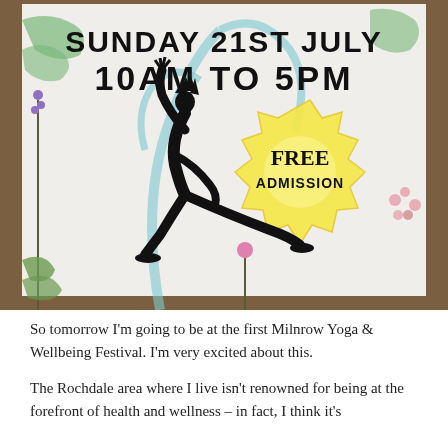[Figure (illustration): A yoga and wellbeing festival poster sign photographed outdoors surrounded by flowers and plants. The sign reads 'SUNDAY 21ST JULY / 10AM TO 5PM' in large bold black text at the top, with a yellow starburst shape containing 'FREE ADMISSION' in bold text, and a black silhouette of a person in a yoga pose (crescent lunge with one arm raised) in the center-left. Background features painted tree/leaf designs in blue and green.]
So tomorrow I'm going to be at the first Milnrow Yoga & Wellbeing Festival. I'm very excited about this.
The Rochdale area where I live isn't renowned for being at the forefront of health and wellness – in fact, I think it's